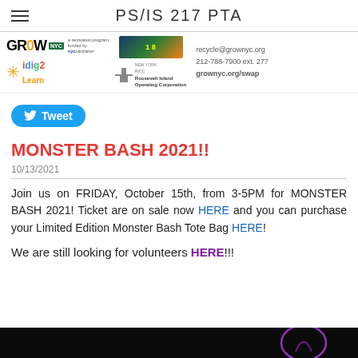PS/IS 217 PTA
[Figure (logo): Sponsor logos: GrowNYC, idig2Learn, a colorful image, Roosevelt Island Operating Corporation, with contact info recycle@grownyc.org, 212-788-7900 ext. 277, grownyc.org/swap]
[Figure (other): Tweet button with Twitter bird icon]
MONSTER BASH 2021!!
10/13/2021
Join us on FRIDAY, October 15th, from 3-5PM for MONSTER BASH 2021! Ticket are on sale now HERE and you can purchase your Limited Edition Monster Bash Tote Bag HERE!
We are still looking for volunteers HERE!!!
[Figure (photo): Dark image at the bottom of the page, partially visible]